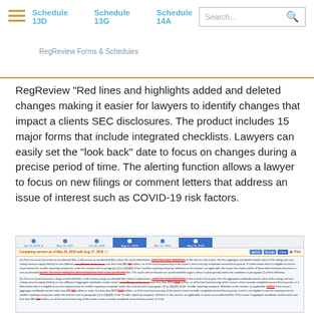Schedule 13D   Schedule 13G   Schedule 14A   RegReview Forms & Schedules
RegReview "Red lines and highlights added and deleted changes making it easier for lawyers to identify changes that impact a clients SEC disclosures. The product includes 15 major forms that include integrated checklists. Lawyers can easily set the "look back" date to focus on changes during a precise period of time. The alerting function allows a lawyer to focus on new filings or comment letters that address an issue of interest such as COVID-19 risk factors.
[Figure (screenshot): Screenshot of RegReview interface showing timeline tabs for multiple dates (Jan 25 2018, May 25 2017, Jun 28 2018, Aug 17 2018 [active], Mar 12 2020, May 20 2020), a comparison bar reading 'Comparing version as of May 20, 2019 with Aug 17, 2018', navigation buttons (Find, Next, Clear, Print), and document text with red strike-through deletions and green/yellow highlights showing tracked changes for SEC accelerated filer definitions.]